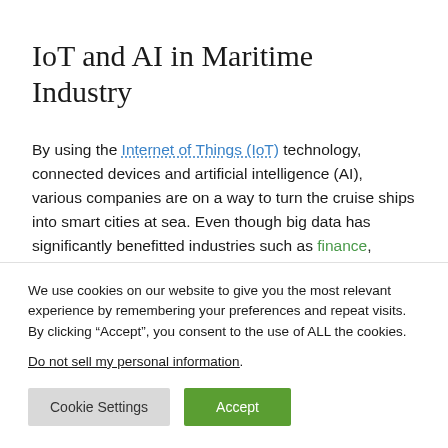IoT and AI in Maritime Industry
By using the Internet of Things (IoT) technology, connected devices and artificial intelligence (AI), various companies are on a way to turn the cruise ships into smart cities at sea. Even though big data has significantly benefitted industries such as finance,
We use cookies on our website to give you the most relevant experience by remembering your preferences and repeat visits. By clicking “Accept”, you consent to the use of ALL the cookies.
Do not sell my personal information.